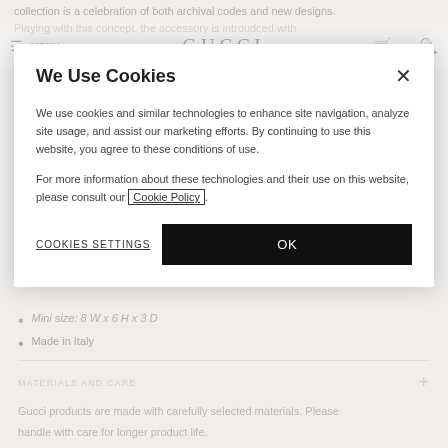collection is a celebration of both archival codes and new designs. Playing with this concept, the accessory is introudced with
[Figure (screenshot): Gucci website navigation bar with hamburger menu, MENU text, GUCCI logo in center, and icons for bag, location, and search on the right]
We Use Cookies
We use cookies and similar technologies to enhance site navigation, analyze site usage, and assist our marketing efforts. By continuing to use this website, you agree to these conditions of use.
For more information about these technologies and their use on this website, please consult our Cookie Policy.
COOKIES SETTINGS
OK
Mini size: 8 W x 6 H x 3 D
Made in Italy
MATERIALS AND CARE
Gucci products are made with carefully selected materials. Please handle with care for longer product life.